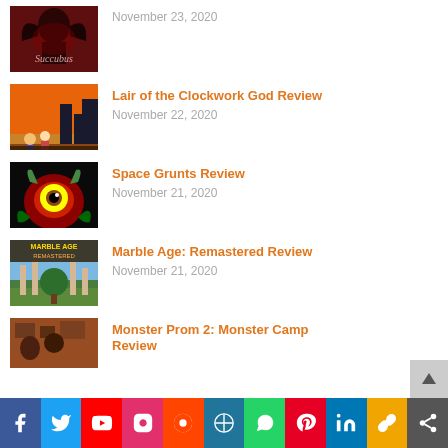November 23, 2020
Lair of the Clockwork God Review – November 22, 2020
Space Grunts Review – November 21, 2020
Marble Age: Remastered Review – November 21, 2020
Monster Prom 2: Monster Camp Review